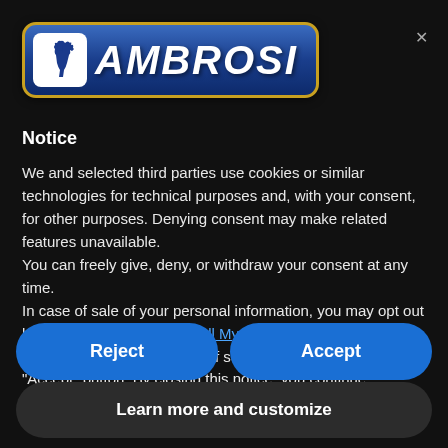[Figure (logo): AMBROSI company logo — blue rounded rectangle badge with gold border, white horse rearing on left icon box, bold italic white AMBROSI text]
Notice
We and selected third parties use cookies or similar technologies for technical purposes and, with your consent, for other purposes. Denying consent may make related features unavailable.
You can freely give, deny, or withdraw your consent at any time.
In case of sale of your personal information, you may opt out by using the link "Do Not Sell My Personal Information".
You can consent to the use of such technologies by using the "Accept" button. By closing this notice, you continue
Reject
Accept
Learn more and customize